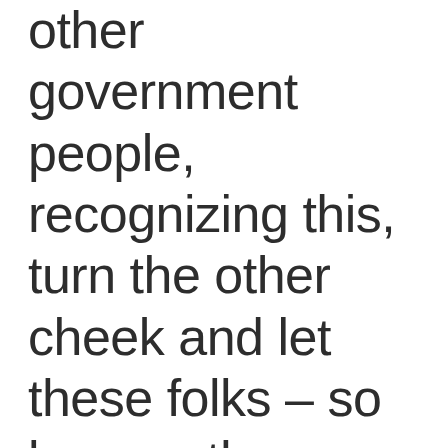other government people, recognizing this, turn the other cheek and let these folks – so long as they are peaceful, work